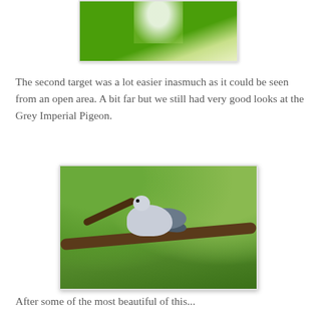[Figure (photo): Partial photo of green blurred background, top of page (cropped bird photo from previous page)]
The second target was a lot easier inasmuch as it could be seen from an open area. A bit far but we still had very good looks at the Grey Imperial Pigeon.
[Figure (photo): Photograph of a Grey Imperial Pigeon perched on a tree branch surrounded by green leaves and foliage]
After some of the most beautiful of this...